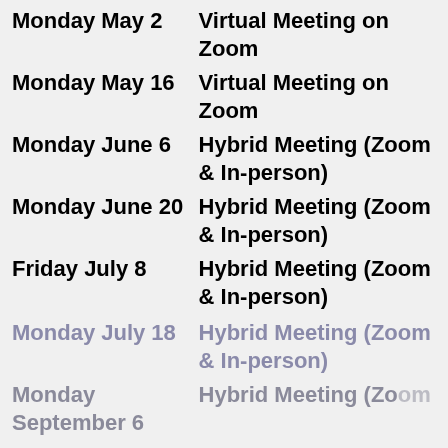Monday May 2 — Virtual Meeting on Zoom
Monday May 16 — Virtual Meeting on Zoom
Monday June 6 — Hybrid Meeting (Zoom & In-person)
Monday June 20 — Hybrid Meeting (Zoom & In-person)
Friday July 8 — Hybrid Meeting (Zoom & In-person)
Monday July 18 — Hybrid Meeting (Zoom & In-person)
Monday September 6 — Hybrid Meeting (Zoom & In-person)
Monday September 19 — Hybrid Meeting (Zoom & In-person)
Friday September — Hybrid Meeting (Zoom & In-person)
This website uses cookies to ensure you get the best experience from our website. You must allow cookies if you wish to login to the website. Learn more
Got it!